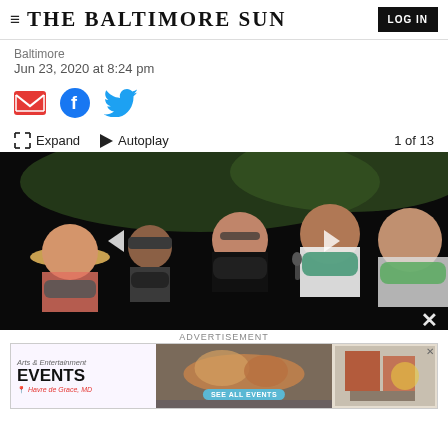THE BALTIMORE SUN | LOG IN
Baltimore
Jun 23, 2020 at 8:24 pm
[Figure (infographic): Social share icons: email (red envelope), Facebook (blue f), Twitter (blue bird)]
Expand   Autoplay   1 of 13
[Figure (photo): Group of people wearing face masks outdoors, attending what appears to be a protest or public gathering. Several individuals visible including women in the foreground wearing colorful masks.]
ADVERTISEMENT
[Figure (infographic): Advertisement banner for Arts & Entertainment Events in Havre de Grace, MD with SEE ALL EVENTS button]